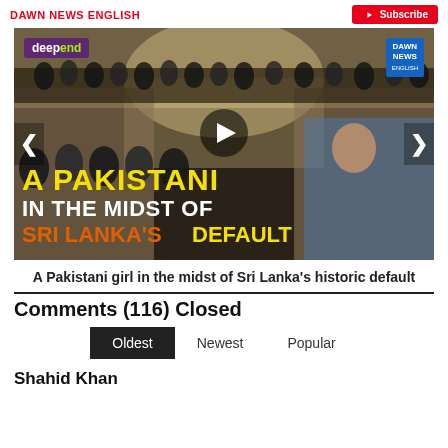DAWN NEWS ENGLISH | Subscribe
[Figure (screenshot): Video thumbnail showing crowd storming a building with text overlay 'A PAKISTANI IN THE MIDST OF SRI LANKA'S DEFAULT' with deepend and Dawn News logos, and a play button in center.]
A Pakistani girl in the midst of Sri Lanka's historic default
Comments (116) Closed
Oldest   Newest   Popular
Shahid Khan